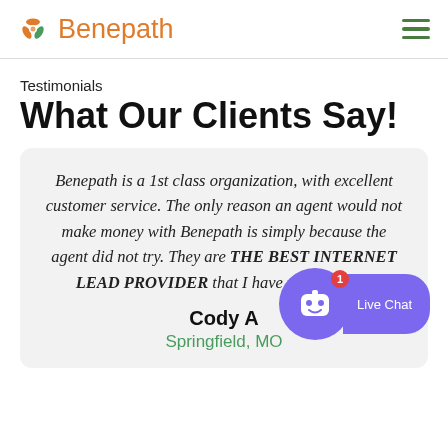Benepath
Testimonials
What Our Clients Say!
Benepath is a 1st class organization, with excellent customer service. The only reason an agent would not make money with Benepath is simply because the agent did not try. They are THE BEST INTERNET LEAD PROVIDER that I have worked with.
Cody A
Springfield, MO